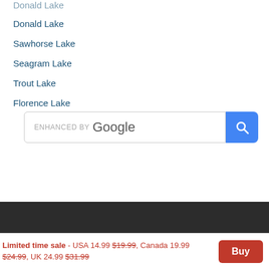Donald Lake
Sawhorse Lake
Seagram Lake
Trout Lake
Florence Lake
[Figure (screenshot): Enhanced by Google search bar with blue search button]
[Figure (screenshot): Dark footer bar]
Limited time sale - USA 14.99 $19.99, Canada 19.99 $24.99, UK 24.99 $31.99